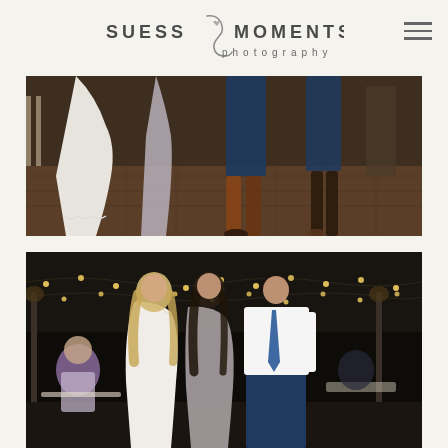[Figure (logo): Suess Moments Photography logo with stylized S script letterform and hamburger menu icon]
[Figure (photo): Wedding reception dance floor photo showing bottom half of people dancing, including a bride in white dress with lace hem, a woman in grey dress, and men in blue pants, on a wooden parquet floor]
[Figure (photo): Outdoor wedding reception night photo showing three people posing together: a blonde woman in white lace dress, a brunette woman in grey dress, and a man in white shirt with blue tie and blue pants, with string lights overhead and guests seated at tables in background]